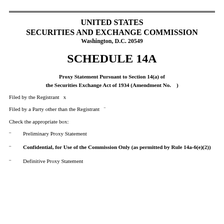UNITED STATES SECURITIES AND EXCHANGE COMMISSION Washington, D.C. 20549
SCHEDULE 14A
Proxy Statement Pursuant to Section 14(a) of the Securities Exchange Act of 1934 (Amendment No.    )
Filed by the Registrant  x
Filed by a Party other than the Registrant  ¨
Check the appropriate box:
¨   Preliminary Proxy Statement
¨   Confidential, for Use of the Commission Only (as permitted by Rule 14a-6(e)(2))
¨   Definitive Proxy Statement